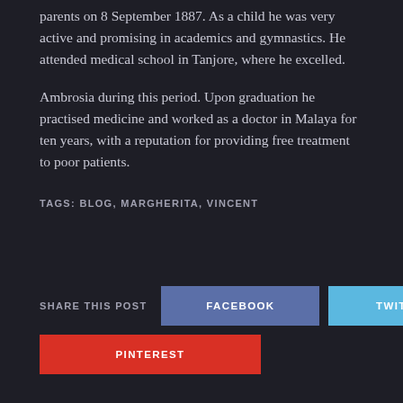parents on 8 September 1887. As a child he was very active and promising in academics and gymnastics. He attended medical school in Tanjore, where he excelled.
Ambrosia during this period. Upon graduation he practised medicine and worked as a doctor in Malaya for ten years, with a reputation for providing free treatment to poor patients.
TAGS: BLOG, MARGHERITA, VINCENT
SHARE THIS POST
FACEBOOK
TWITTER
PINTEREST